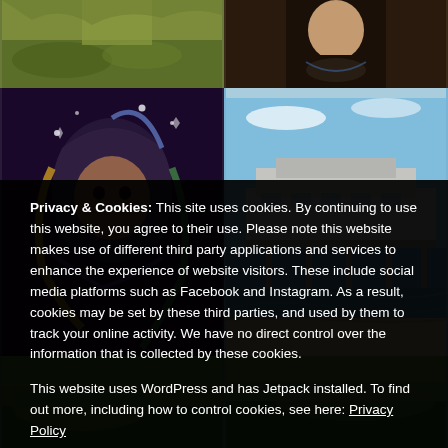[Figure (photo): Top-left: mossy ground/nature scene]
[Figure (photo): Top-right: person wearing a dark t-shirt with globe/map print]
[Figure (photo): Middle-left: colorful street art mural of a figure with flowing hair and stars]
[Figure (photo): Middle-right: seaside pier with blue sky and sea]
[Figure (photo): Bottom-left: green landscape]
[Figure (photo): Bottom-right: green landscape]
Privacy & Cookies: This site uses cookies. By continuing to use this website, you agree to their use. Please note this website makes use of different third party applications and services to enhance the experience of website visitors. These include social media platforms such as Facebook and Instagram. As a result, cookies may be set by these third parties, and used by them to track your online activity. We have no direct control over the information that is collected by these cookies.
This website uses WordPress and has Jetpack installed. To find out more, including how to control cookies, see here: Privacy Policy
Close and accept